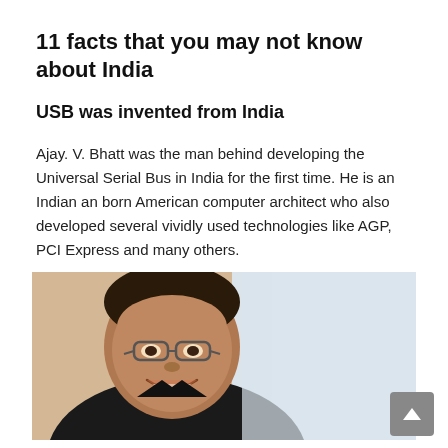11 facts that you may not know about India
USB was invented from India
Ajay. V. Bhatt was the man behind developing the Universal Serial Bus in India for the first time. He is an Indian an born American computer architect who also developed several vividly used technologies like AGP, PCI Express and many others.
[Figure (photo): Photo of Ajay V. Bhatt, a middle-aged South Asian man wearing glasses and a black shirt, smiling, with a blurred indoor background]